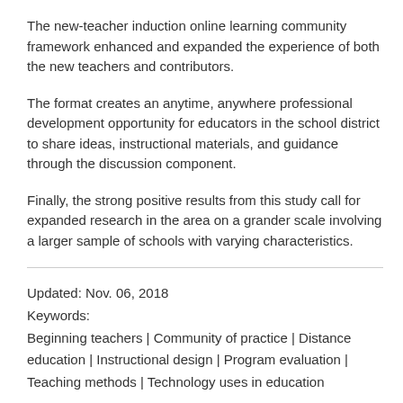The new-teacher induction online learning community framework enhanced and expanded the experience of both the new teachers and contributors.
The format creates an anytime, anywhere professional development opportunity for educators in the school district to share ideas, instructional materials, and guidance through the discussion component.
Finally, the strong positive results from this study call for expanded research in the area on a grander scale involving a larger sample of schools with varying characteristics.
Updated: Nov. 06, 2018
Keywords:
Beginning teachers | Community of practice | Distance education | Instructional design | Program evaluation | Teaching methods | Technology uses in education
Link to Item: http://education.eng.macam.ac.il/article/3082